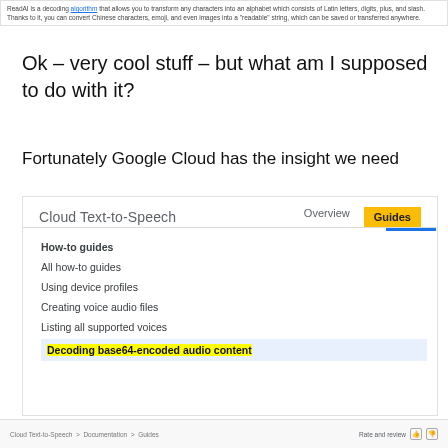[Figure (screenshot): Top portion of a webpage showing a short description about ReadAI, a decoding algorithm that transforms characters into alphabet of Latin letters, digits, plus, and slash.]
Ok – very cool stuff – but what am I supposed to do with it?
Fortunately Google Cloud has the insight we need
[Figure (screenshot): Screenshot of Google Cloud Text-to-Speech documentation page showing navigation with Overview and Guides tabs (Guides highlighted in yellow), and a sidebar menu listing: How-to guides (bold), All how-to guides, Using device profiles, Creating voice audio files, Listing all supported voices, Decoding base64-encoded audio content (highlighted in yellow on blue background)]
Cloud Text-to-Speech > Documentation > Guides    Rate and review  👍 👎